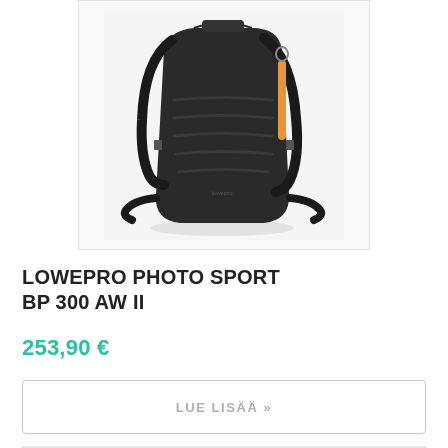[Figure (photo): Black Lowepro Photo Sport BP 300 AW II backpack shown from a front-side angle on a white/light grey background. The backpack has multiple horizontal ridges on the front panel, orange accent strap detail on the side, black shoulder straps, and a waist belt.]
LOWEPRO PHOTO SPORT BP 300 AW II
253,90 €
LUE LISÄÄ »